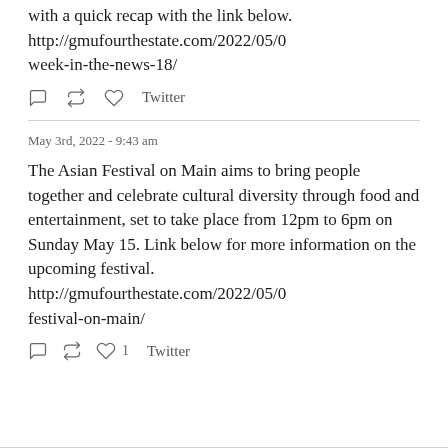with a quick recap with the link below. http://gmufourthestate.com/2022/05/0 week-in-the-news-18/
Twitter (actions row)
May 3rd, 2022 - 9:43 am
The Asian Festival on Main aims to bring people together and celebrate cultural diversity through food and entertainment, set to take place from 12pm to 6pm on Sunday May 15. Link below for more information on the upcoming festival. http://gmufourthestate.com/2022/05/0 festival-on-main/
Twitter (actions row with 1 like)